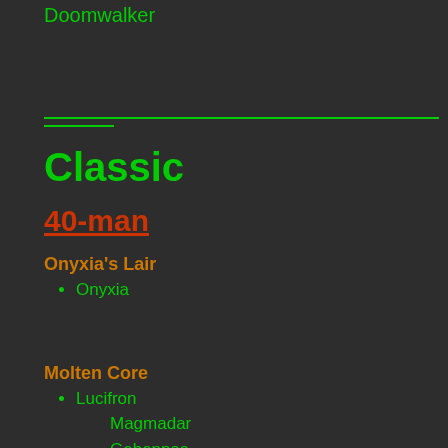Doomwalker
Classic
40-man
Onyxia's Lair
Onyxia
Molten Core
Lucifron
Magmadar
Gehennas
Garr
Baron Geddon
Shazzrah